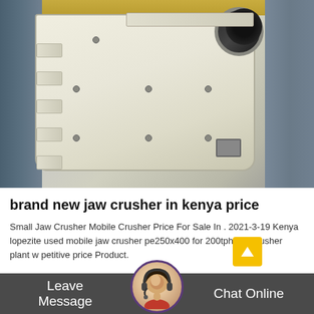[Figure (photo): Photograph of a large white jaw crusher machine in an industrial factory setting. The machine has a rectangular steel body with ribbed sides, multiple bolt holes, and a large circular opening at the top right. The factory background shows industrial cranes, overhead rails, and other heavy machinery.]
brand new jaw crusher in kenya price
Small Jaw Crusher Mobile Crusher Price For Sale In . 2021-3-19 Kenya lopezite used mobile jaw crusher pe250x400 for 200tph jaw crusher plant w petitive price Product.
Leave Message   Chat Online